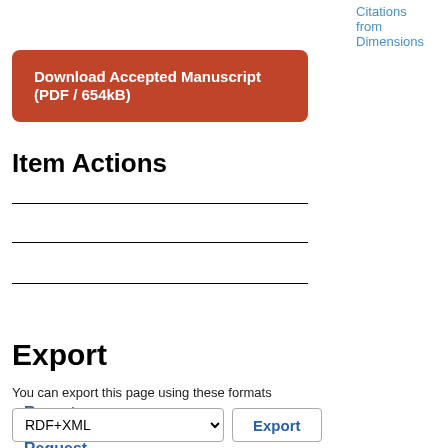Citations from Dimensions
[Figure (other): Download Accepted Manuscript (PDF / 654kB) button — orange/red rounded rectangle with white bold text]
Item Actions
Report Issue / Request Change
Update Item (Repository Staff only)
Submit Changes (Author/Depositor only)
Export
You can export this page using these formats
RDF+XML  [dropdown]  Export [button]